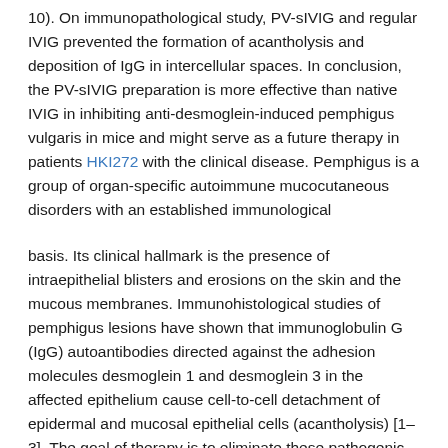10). On immunopathological study, PV-sIVIG and regular IVIG prevented the formation of acantholysis and deposition of IgG in intercellular spaces. In conclusion, the PV-sIVIG preparation is more effective than native IVIG in inhibiting anti-desmoglein-induced pemphigus vulgaris in mice and might serve as a future therapy in patients HKI272 with the clinical disease. Pemphigus is a group of organ-specific autoimmune mucocutaneous disorders with an established immunological
basis. Its clinical hallmark is the presence of intraepithelial blisters and erosions on the skin and the mucous membranes. Immunohistological studies of pemphigus lesions have shown that immunoglobulin G (IgG) autoantibodies directed against the adhesion molecules desmoglein 1 and desmoglein 3 in the affected epithelium cause cell-to-cell detachment of epidermal and mucosal epithelial cells (acantholysis) [1–3]. The goal of therapy is to eliminate these pathogenic autoantibodies [4]. However, at present there are no available selective inhibitors of desmoglein autoantibodies, and therapy is